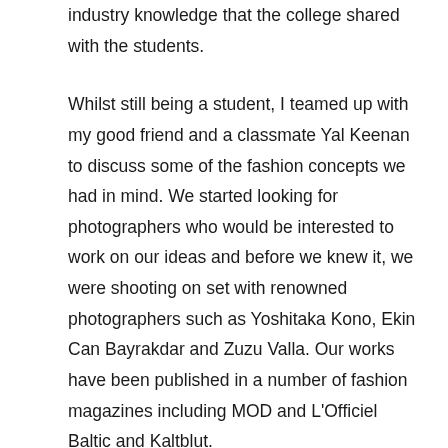industry knowledge that the college shared with the students.
Whilst still being a student, I teamed up with my good friend and a classmate Yal Keenan to discuss some of the fashion concepts we had in mind. We started looking for photographers who would be interested to work on our ideas and before we knew it, we were shooting on set with renowned photographers such as Yoshitaka Kono, Ekin Can Bayrakdar and Zuzu Valla. Our works have been published in a number of fashion magazines including MOD and L'Officiel Baltic and Kaltblut.
The college has also provided invaluable job